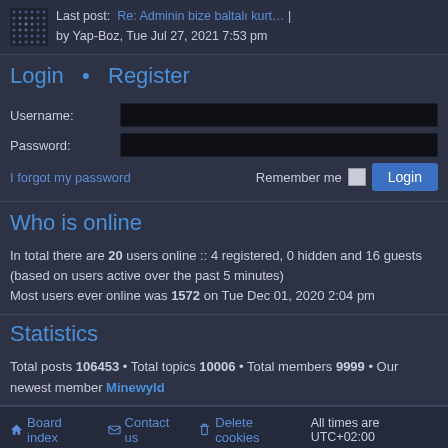Last post: Re: Adminin bize baltalı kurt… | by Yap-Boz, Tue Jul 27, 2021 7:53 pm
Login • Register
Username: [input field]
Password: [input field]
I forgot my password  Remember me [ ] Login
Who is online
In total there are 20 users online :: 4 registered, 0 hidden and 16 guests (based on users active over the past 5 minutes)
Most users ever online was 1572 on Tue Dec 01, 2020 2:04 pm
Statistics
Total posts 106453 • Total topics 10006 • Total members 9999 • Our newest member Minewyld
Board index  Contact us  Delete cookies  All times are UTC+02:00
Powered by phpBB® Forum Software © phpBB Limited
Style by Arty - phpBB 3.3 by MrGaby
Privacy | Terms